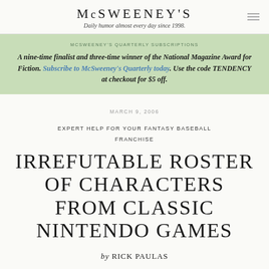McSWEENEY'S — Daily humor almost every day since 1998.
MCSWEENEY'S QUARTERLY SUBSCRIPTIONS
A nine-time finalist and three-time winner of the National Magazine Award for Fiction. Subscribe to McSweeney's Quarterly today. Use the code TENDENCY at checkout for $5 off.
MARCH 9, 2006
EXPERT HELP FOR YOUR FANTASY BASEBALL FRANCHISE
IRREFUTABLE ROSTER OF CHARACTERS FROM CLASSIC NINTENDO GAMES
by RICK PAULAS